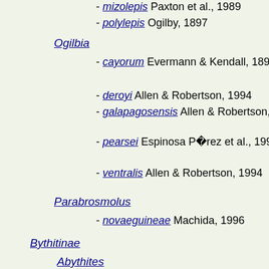- mizolepis Paxton et al., 1989
- polylepis Ogilby, 1897
Ogilbia
- cayorum Evermann & Kendall, 1898
- deroyi Allen & Robertson, 1994
- galapagosensis Allen & Robertson, 1994
- pearsei Espinosa Pérez et al., 1993
- ventralis Allen & Robertson, 1994
Parabrosmolus
- novaeguineae Machida, 1996
Bythitinae
Abythites
- lepidogenys Nielsen & Cohen, 1973
Bellottia
- apoda Giglioli, 1883
Bythites
- fuscus Reinhardt, 1835
- gerdae Nielsen & Cohen, 1973
- hollisi Cohen, Rosenblatt & Moser, 1990